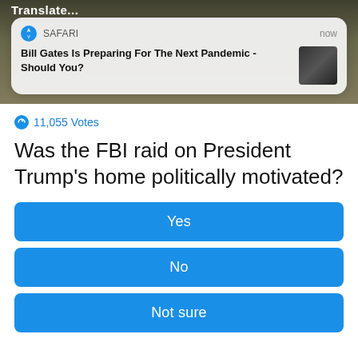[Figure (screenshot): Background photo of an animal or nature scene, partially visible at the top of the page]
Translate...
[Figure (screenshot): Safari browser push notification card reading: 'Bill Gates Is Preparing For The Next Pandemic - Should You?' with a thumbnail photo of a man and timestamp 'now']
11,055 Votes
Was the FBI raid on President Trump's home politically motivated?
Yes
No
Not sure